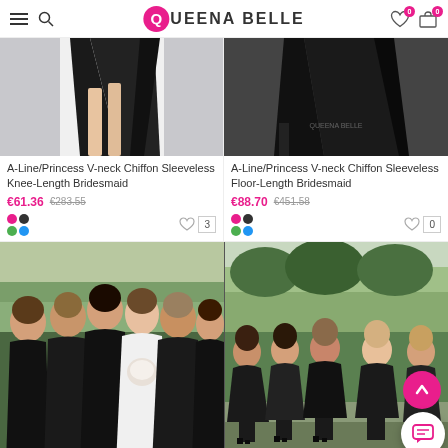Queena Belle - navigation header with hamburger menu, search icon, logo, heart icon (0), cart icon (0)
[Figure (photo): Product photo: bottom portion of black chiffon knee-length bridesmaid dress on model, light background]
A-Line/Princess V-neck Chiffon Sleeveless Knee-Length Bridesmaid
€61.36  €283.55
[Figure (photo): Product photo: bottom portion of black chiffon floor-length bridesmaid dress on model, watermarked Queena Belle]
A-Line/Princess V-neck Chiffon Sleeveless Floor-Length Bridesmaid
€88.70  €451.58
[Figure (photo): Group photo of bridesmaids in black strapless floor-length gowns with bride in white at outdoor wedding]
[Figure (photo): Group photo of bridesmaids in black knee-length dresses posing outdoors on green lawn with trees in background]